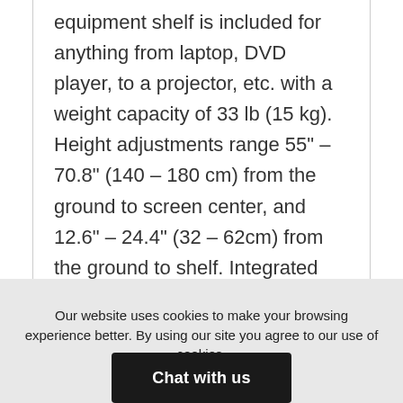equipment shelf is included for anything from laptop, DVD player, to a projector, etc. with a weight capacity of 33 lb (15 kg). Height adjustments range 55" – 70.8" (140 – 180 cm) from the ground to screen center, and 12.6" – 24.4" (32 – 62cm) from the ground to shelf. Integrated cable management along the pole with plastic cover completes a neat installation. Its
Our website uses cookies to make your browsing experience better. By using our site you agree to our use of cookies. Learn More
Chat with us